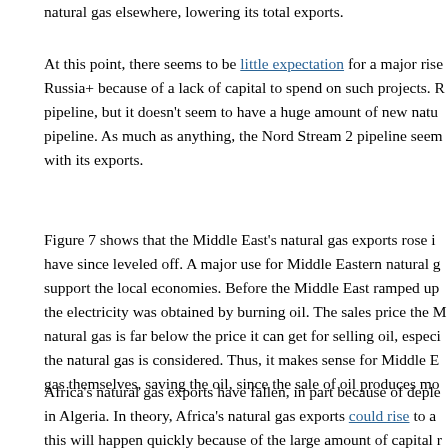natural gas elsewhere, lowering its total exports.
At this point, there seems to be little expectation for a major rise Russia+ because of a lack of capital to spend on such projects. R pipeline, but it doesn’t seem to have a huge amount of new natu pipeline. As much as anything, the Nord Stream 2 pipeline seem with its exports.
Figure 7 shows that the Middle East’s natural gas exports rose i have since leveled off. A major use for Middle Eastern natural g support the local economies. Before the Middle East ramped up the electricity was obtained by burning oil. The sales price the M natural gas is far below the price it can get for selling oil, especi the natural gas is considered. Thus, it makes sense for Middle E gas themselves, saving the oil, since the sale of oil produces mo
Africa’s natural gas exports have fallen, in part because of deple in Algeria. In theory, Africa’s natural gas exports could rise to a this will happen quickly because of the large amount of capital r